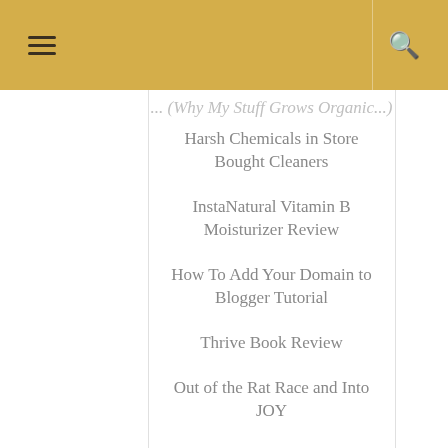(partially visible item)
Harsh Chemicals in Store Bought Cleaners
InstaNatural Vitamin B Moisturizer Review
How To Add Your Domain to Blogger Tutorial
Thrive Book Review
Out of the Rat Race and Into JOY
Hydracentials Stainless Steel Water Bottle
Label Daddy Washable Labels